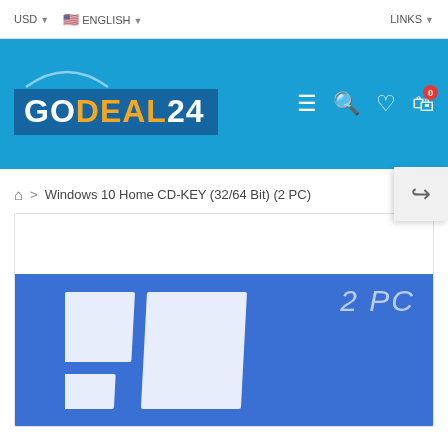USD  ENGLISH  LINKS
[Figure (logo): GoDeal24 logo on blue header bar with navigation icons (hamburger menu, search, heart, cart with badge 0), and a return button]
Windows 10 Home CD-KEY (32/64 Bit) (2 PC)
[Figure (screenshot): Product image showing Windows 10 logo on blue background with '2 PC' label in top right corner]